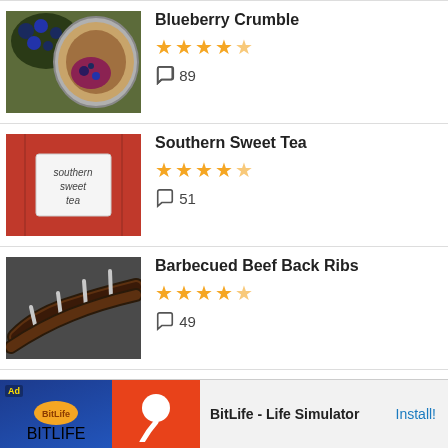Blueberry Crumble, 4.5 stars, 89 comments
Southern Sweet Tea, 4.5 stars, 51 comments
Barbecued Beef Back Ribs, 4.5 stars, 49 comments
Barbecue Pork Burgers, 4 stars, 35 comments
[Figure (screenshot): Ad banner for BitLife - Life Simulator app with install button]